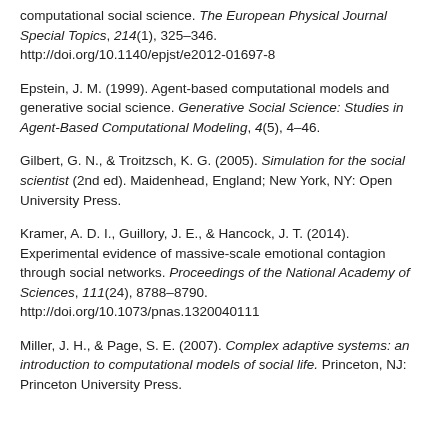computational social science. The European Physical Journal Special Topics, 214(1), 325–346. http://doi.org/10.1140/epjst/e2012-01697-8
Epstein, J. M. (1999). Agent-based computational models and generative social science. Generative Social Science: Studies in Agent-Based Computational Modeling, 4(5), 4–46.
Gilbert, G. N., & Troitzsch, K. G. (2005). Simulation for the social scientist (2nd ed). Maidenhead, England; New York, NY: Open University Press.
Kramer, A. D. I., Guillory, J. E., & Hancock, J. T. (2014). Experimental evidence of massive-scale emotional contagion through social networks. Proceedings of the National Academy of Sciences, 111(24), 8788–8790. http://doi.org/10.1073/pnas.1320040111
Miller, J. H., & Page, S. E. (2007). Complex adaptive systems: an introduction to computational models of social life. Princeton, NJ: Princeton University Press.